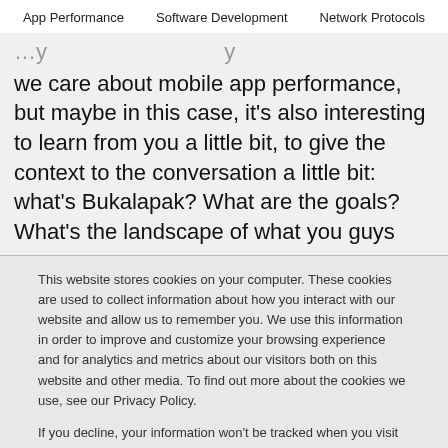App Performance   Software Development   Network Protocols
we care about mobile app performance, but maybe in this case, it's also interesting to learn from you a little bit, to give the context to the conversation a little bit: what's Bukalapak? What are the goals? What's the landscape of what you guys
This website stores cookies on your computer. These cookies are used to collect information about how you interact with our website and allow us to remember you. We use this information in order to improve and customize your browsing experience and for analytics and metrics about our visitors both on this website and other media. To find out more about the cookies we use, see our Privacy Policy.

If you decline, your information won't be tracked when you visit this website. A single cookie will be used in your browser to remember your preference not to be tracked.
Accept   Decline